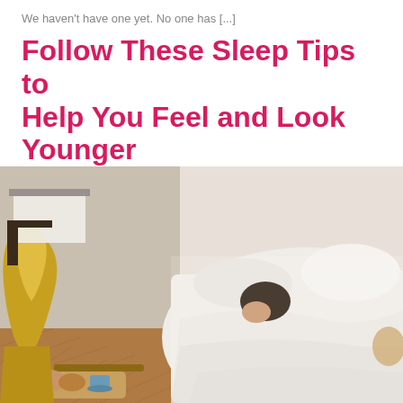We haven't have one yet. No one has [...]
Follow These Sleep Tips to Help You Feel and Look Younger
[Figure (photo): A woman sleeping in a large bed with white bedding and pillows, photographed from above at an angle. An ornate golden bed frame is visible on the left side. On the wooden herringbone floor there is a decorative tray with croissants and tea/coffee. In the background there is a dining table with a white tablecloth and a dark wooden chair.]